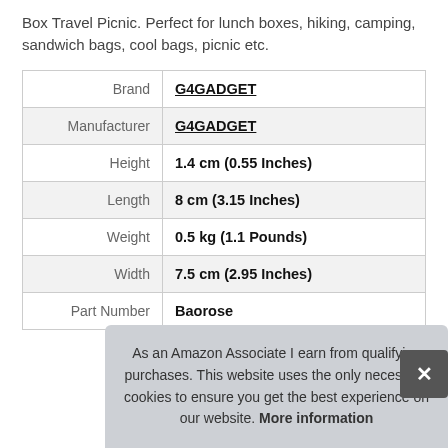Box Travel Picnic. Perfect for lunch boxes, hiking, camping, sandwich bags, cool bags, picnic etc.
|  |  |
| --- | --- |
| Brand | G4GADGET |
| Manufacturer | G4GADGET |
| Height | 1.4 cm (0.55 Inches) |
| Length | 8 cm (3.15 Inches) |
| Weight | 0.5 kg (1.1 Pounds) |
| Width | 7.5 cm (2.95 Inches) |
| Part Number | Baorose |
As an Amazon Associate I earn from qualifying purchases. This website uses the only necessary cookies to ensure you get the best experience on our website. More information